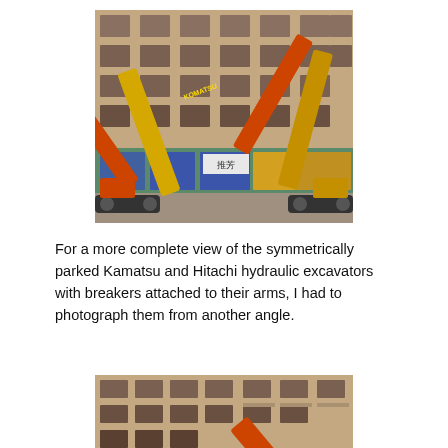[Figure (photo): Two hydraulic excavators (one orange Komatsu, one yellow) with breakers on their arms, crossed symmetrically in front of a partially demolished multi-story brick building with blue storefronts and Chinese signage at street level.]
For a more complete view of the symmetrically parked Kamatsu and Hitachi hydraulic excavators with breakers attached to their arms, I had to photograph them from another angle.
[Figure (photo): Partial view of the same partially demolished multi-story brick building from another angle, showing an orange excavator arm raised against the building facade.]